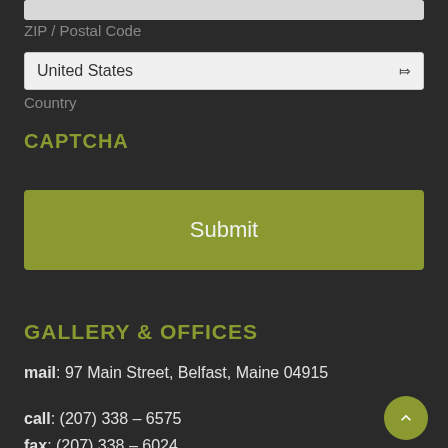ZIP / Postal Code
United States
Country
CAPTCHA
Submit
GALLERY & OFFICES
mail: 97 Main Street, Belfast, Maine 04915
call: (207) 338 – 6575
fax: (207) 338 – 6024